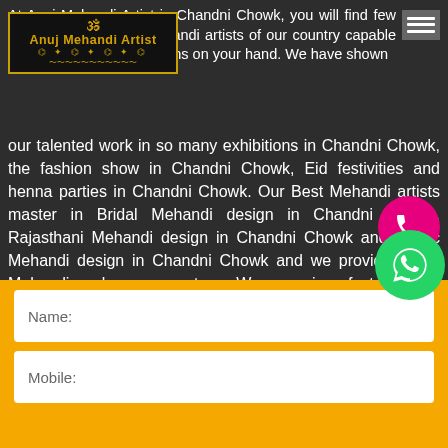Anuj Mehandi Artist
At Anuj Mehandi Artist in Chandni Chowk, you will find few of the most talented Mehandi artists of our country capable of carrying beautiful designs on your hand. We have shown our talented work in so many exhibitions in Chandni Chowk, the fashion show in Chandni Chowk, Eid festivities and henna parties in Chandni Chowk. Our Best Mehandi artists master in Bridal Mehandi design in Chandni Chowk, Rajasthani Mehandi design in Chandni Chowk and Arabic Mehandi design in Chandni Chowk and we provide 100% Mehandi colour guarantee. We promise fast service anywhere in Chandni Chowk. Our artists in Chandni Chowk are available 24/7 to deliver exceptional service to our clients in Chandni Chowk.
[Figure (other): Phone call button (pink circle with phone icon)]
[Figure (other): WhatsApp button (green circle with chat icon)]
Name:
Mobile: